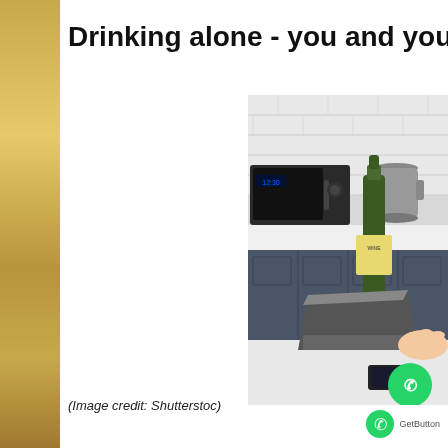Drinking alone - you and your scre
[Figure (photo): Person sitting at a kitchen counter with a laptop and a green wine bottle, with a microwave and kettle visible in the background. A hand is visible using the laptop trackpad. A smartphone is on the counter. A green WhatsApp button is overlaid in the lower right corner of the image.]
(Image credit: Shutterstoc)